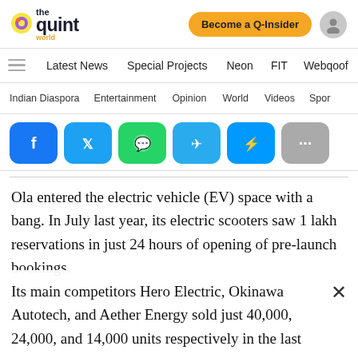[Figure (logo): The Quint World logo — yellow/purple icon with 'the quint world' text]
Become a Q-Insider
Latest News   Special Projects   Neon   FIT   Webqoof
Indian Diaspora   Entertainment   Opinion   World   Videos   Spor
[Figure (infographic): Social share buttons: Facebook, Twitter, WhatsApp, Telegram, Messenger, More]
Ola entered the electric vehicle (EV) space with a bang. In July last year, its electric scooters saw 1 lakh reservations in just 24 hours of opening of pre-launch bookings.
Its main competitors Hero Electric, Okinawa Autotech, and Aether Energy sold just 40,000, 24,000, and 14,000 units respectively in the last